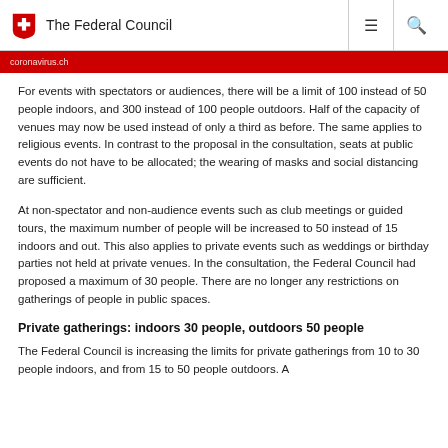The Federal Council
For events with spectators or audiences, there will be a limit of 100 instead of 50 people indoors, and 300 instead of 100 people outdoors. Half of the capacity of venues may now be used instead of only a third as before. The same applies to religious events. In contrast to the proposal in the consultation, seats at public events do not have to be allocated; the wearing of masks and social distancing are sufficient.
At non-spectator and non-audience events such as club meetings or guided tours, the maximum number of people will be increased to 50 instead of 15 indoors and out. This also applies to private events such as weddings or birthday parties not held at private venues. In the consultation, the Federal Council had proposed a maximum of 30 people. There are no longer any restrictions on gatherings of people in public spaces.
Private gatherings: indoors 30 people, outdoors 50 people
The Federal Council is increasing the limits for private gatherings from 10 to 30 people indoors, and from 15 to 50 people outdoors. A